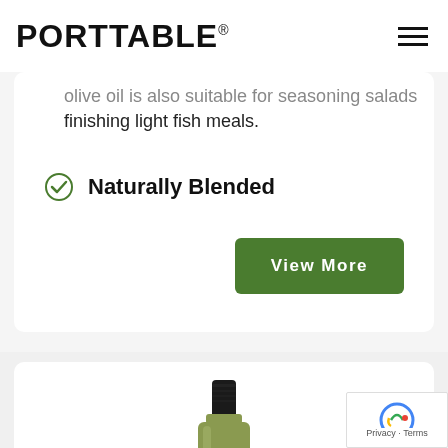PORTTABLE®
olive oil is also suitable for seasoning salads or finishing light fish meals.
Naturally Blended
View More
[Figure (photo): A wine/olive oil bottle with black cap and green-yellow matte body, photographed from above the label area.]